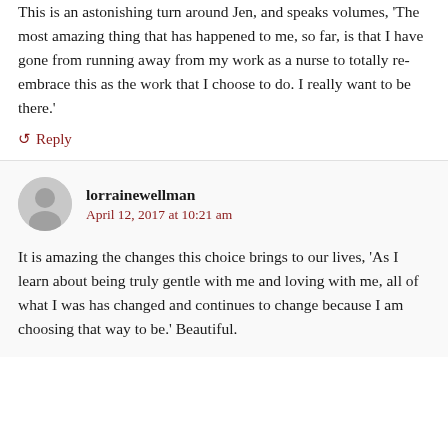This is an astonishing turn around Jen, and speaks volumes, 'The most amazing thing that has happened to me, so far, is that I have gone from running away from my work as a nurse to totally re-embrace this as the work that I choose to do. I really want to be there.'
↺ Reply
lorrainewellman
April 12, 2017 at 10:21 am
It is amazing the changes this choice brings to our lives, 'As I learn about being truly gentle with me and loving with me, all of what I was has changed and continues to change because I am choosing that way to be.' Beautiful.